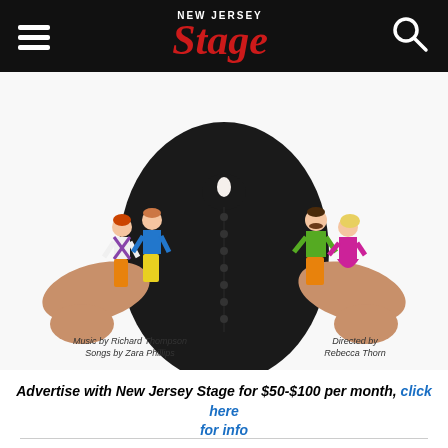NEW JERSEY Stage
[Figure (photo): Woman in black dress holding colorful figurines in each hand. Left hand holds two male figurines (one in orange pants/blue shirt, one in yellow pants/blue shirt). Right hand holds two figurines (one in green jacket, one in pink/magenta outfit). Text overlaid: 'Music by Richard Thompson / Songs by Zara Phillips' (left) and 'Directed by Rebecca Thorn' (right).]
Advertise with New Jersey Stage for $50-$100 per month, click here for info